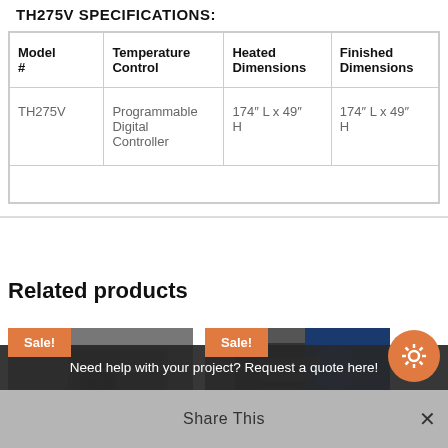TH275V SPECIFICATIONS:
| Model # | Temperature Control | Heated Dimensions | Finished Dimensions |
| --- | --- | --- | --- |
| TH275V | Programmable Digital Controller | 174″ L x 49″ H | 174″ L x 49″ H |
Related products
[Figure (photo): Product with Sale badge - left]
[Figure (photo): Product with Sale badge - right]
Need help with your project? Request a quote here!
Share This